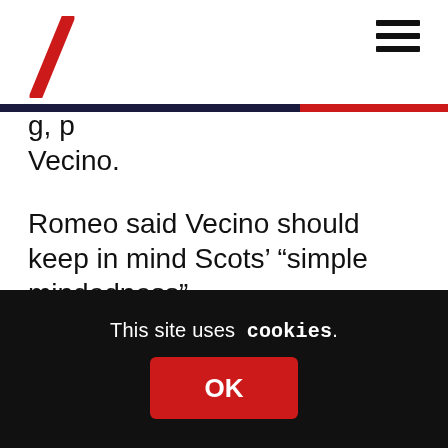[Logo: stylized red backslash] [Hamburger menu icon]
g, p Vecino.
Romeo said Vecino should keep in mind Scots’ “simple mindedness”.
“They lend themselves to manipulation by Catalan independence supporters,” he added.
Borrell’s Scottish ruse was not for nothing, He had a clear purpose in mind: to shut down
This site uses cookies.
OK